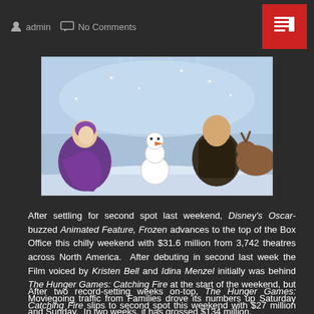admin   No Comments
[Figure (photo): Still from Disney's animated film Frozen showing characters Anna (in purple dress), Olaf the snowman, and Kristoff kneeling in a snowy winter scene]
After settling for second spot last weekend, Disney's Oscar-buzzed Animated Feature, Frozen advances to the top of the Box Office this chilly weekend with $31.6 million from 3,742 theatres across North America.  After debuting in second last week the Film voiced by Kristen Bell and Idina Menzel initially was behind The Hunger Games: Catching Fire at the start of the weekend, but Moviegoing traffic from Families drove its numbers up Saturday and Sunday.  In two weeks, it has grossed $134 million.
After two record-setting weeks on-top, The Hunger Games: Catching Fire slips to second spot this weekend with $27 million from 4,163 theatres.  In three weeks, it